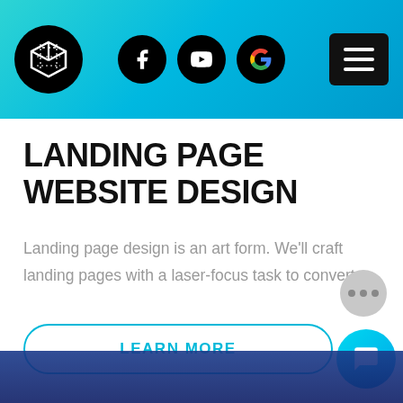[Figure (logo): Circular black logo with stylized cube/box icon and social media navigation icons (Facebook, YouTube, Google) plus hamburger menu button on teal/cyan gradient header]
LANDING PAGE WEBSITE DESIGN
Landing page design is an art form. We'll craft landing pages with a laser-focus task to convert.
LEARN MORE